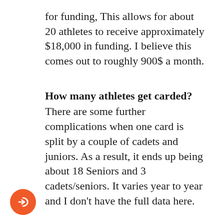for funding, This allows for about 20 athletes to receive approximately $18,000 in funding. I believe this comes out to roughly 900$ a month.
How many athletes get carded?
There are some further complications when one card is split by a couple of cadets and juniors. As a result, it ends up being about 18 Seniors and 3 cadets/seniors. It varies year to year and I don't have the full data here.
Who is selected?
Then the question becomes, who is selected to be one of the 20 athletes (or